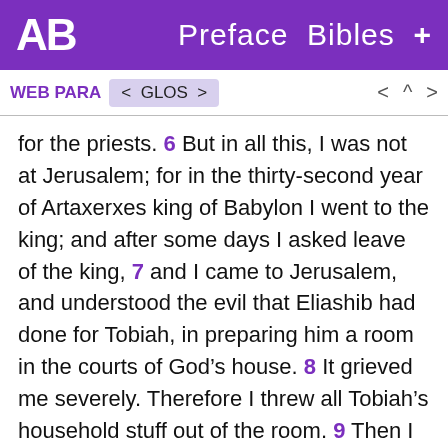AB  Preface  Bibles  +
WEB PARA < GLOS > < ^ >
for the priests. 6 But in all this, I was not at Jerusalem; for in the thirty-second year of Artaxerxes king of Babylon I went to the king; and after some days I asked leave of the king, 7 and I came to Jerusalem, and understood the evil that Eliashib had done for Tobiah, in preparing him a room in the courts of God’s house. 8 It grieved me severely. Therefore I threw all Tobiah’s household stuff out of the room. 9 Then I commanded, and they cleansed the rooms. I brought into them the vessels of God’s house, with the meal offerings and the frankincense again. 10 I perceived that the portions of the Levites had not been given them, so that the Levites and the singers, who did the work, had each fled to his field. 11 Then I contended with the rulers, and said, “Why is God’s house forsaken?” I gathered them